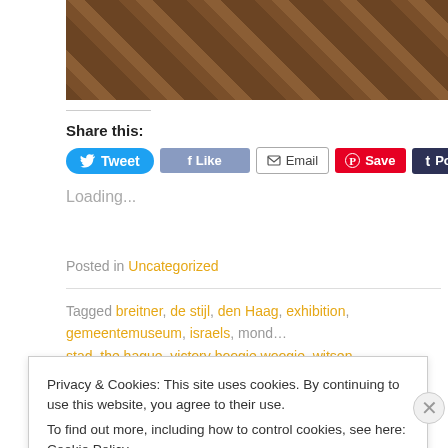[Figure (photo): Parquet wooden floor texture, herringbone/chevron pattern in dark brown tones]
Share this:
[Figure (screenshot): Social sharing buttons: Tweet (Twitter/blue), Facebook (blurred), Email, Save (Pinterest/red), Post (Tumblr/dark blue), More]
Loading...
Posted in Uncategorized
Tagged breitner, de stijl, den Haag, exhibition, gemeentemuseum, israels, mond... stad, the hague, victory boogie woogie, witsen
Privacy & Cookies: This site uses cookies. By continuing to use this website, you agree to their use.
To find out more, including how to control cookies, see here: Cookie Policy
Close and accept